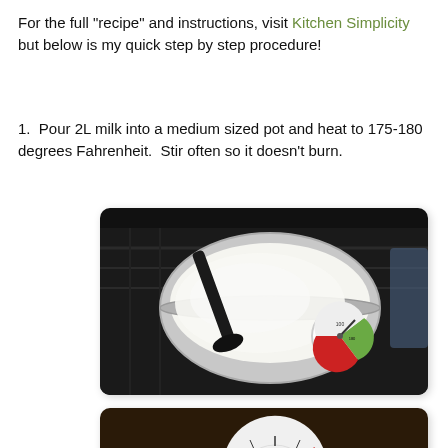For the full "recipe" and instructions, visit Kitchen Simplicity but below is my quick step by step procedure!
1.  Pour 2L milk into a medium sized pot and heat to 175-180 degrees Fahrenheit.  Stir often so it doesn't burn.
[Figure (photo): A silver pot on a black stovetop with white milk inside and a black stirring spoon. A round thermometer with green and red zones is clipped to the pot side.]
[Figure (photo): Close-up of a round thermometer with green and red zones resting in a pot of warm milk on the stovetop. The needle indicates temperature around 175-180°F.]